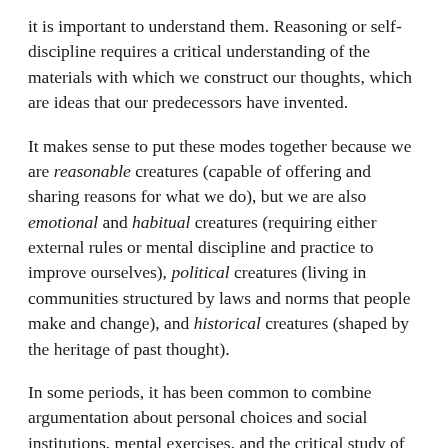it is important to understand them. Reasoning or self-discipline requires a critical understanding of the materials with which we construct our thoughts, which are ideas that our predecessors have invented.
It makes sense to put these modes together because we are reasonable creatures (capable of offering and sharing reasons for what we do), but we are also emotional and habitual creatures (requiring either external rules or mental discipline and practice to improve ourselves), political creatures (living in communities structured by laws and norms that people make and change), and historical creatures (shaped by the heritage of past thought).
In some periods, it has been common to combine argumentation about personal choices and social institutions, mental exercises, and the critical study of past thinkers. In other times–including our own–these elements have come apart. Here I will offer a very short and suggestive review of